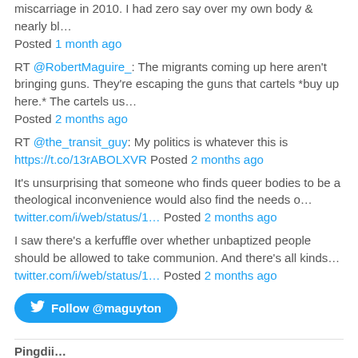miscarriage in 2010. I had zero say over my own body & nearly bl… Posted 1 month ago
RT @RobertMaguire_: The migrants coming up here aren't bringing guns. They're escaping the guns that cartels *buy up here.* The cartels us… Posted 2 months ago
RT @the_transit_guy: My politics is whatever this is https://t.co/13rABOLXVR Posted 2 months ago
It's unsurprising that someone who finds queer bodies to be a theological inconvenience would also find the needs o… twitter.com/i/web/status/1… Posted 2 months ago
I saw there's a kerfuffle over whether unbaptized people should be allowed to take communion. And there's all kinds… twitter.com/i/web/status/1… Posted 2 months ago
[Figure (other): Follow @maguyton button — a blue rounded button with Twitter bird icon]
Pingdii...